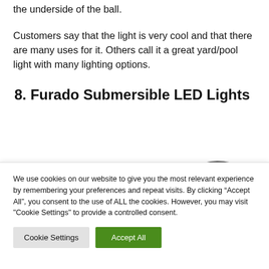the underside of the ball.
Customers say that the light is very cool and that there are many uses for it. Others call it a great yard/pool light with many lighting options.
8. Furado Submersible LED Lights
[Figure (illustration): Partial illustration of a submersible LED light product, showing curved top portion of the device with a cord]
We use cookies on our website to give you the most relevant experience by remembering your preferences and repeat visits. By clicking “Accept All”, you consent to the use of ALL the cookies. However, you may visit "Cookie Settings" to provide a controlled consent.